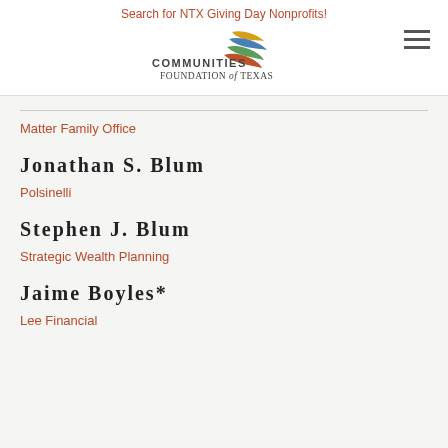Search for NTX Giving Day Nonprofits!
[Figure (logo): Communities Foundation of Texas logo with colorful wing-like graphic and text 'COMMUNITIES FOUNDATION of TEXAS']
Matter Family Office
Jonathan S. Blum
Polsinelli
Stephen J. Blum
Strategic Wealth Planning
Jaime Boyles*
Lee Financial